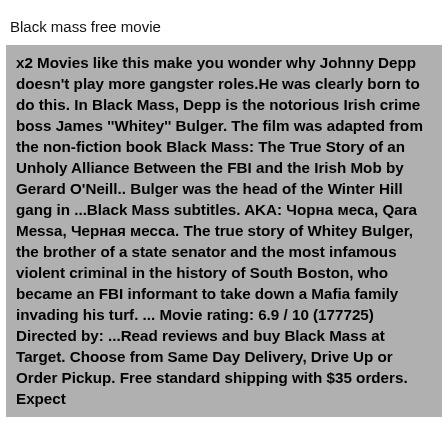Black mass free movie
x2 Movies like this make you wonder why Johnny Depp doesn't play more gangster roles.He was clearly born to do this. In Black Mass, Depp is the notorious Irish crime boss James ''Whitey'' Bulger. The film was adapted from the non-fiction book Black Mass: The True Story of an Unholy Alliance Between the FBI and the Irish Mob by Gerard O'Neill.. Bulger was the head of the Winter Hill gang in ...Black Mass subtitles. AKA: Чорна меса, Qara Messa, Черная месса. The true story of Whitey Bulger, the brother of a state senator and the most infamous violent criminal in the history of South Boston, who became an FBI informant to take down a Mafia family invading his turf. ... Movie rating: 6.9 / 10 (177725) Directed by: ...Read reviews and buy Black Mass at Target. Choose from Same Day Delivery, Drive Up or Order Pickup. Free standard shipping with $35 orders. Expect